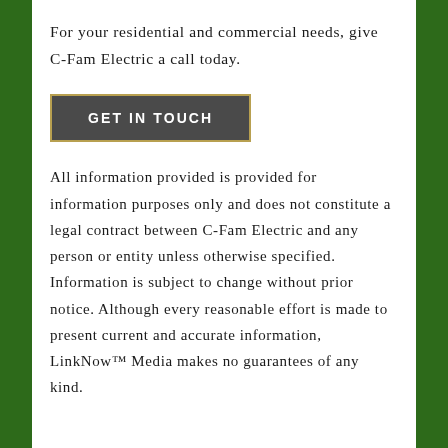For your residential and commercial needs, give C-Fam Electric a call today.
[Figure (other): GET IN TOUCH button — dark gray rectangle with gold border, white uppercase text]
All information provided is provided for information purposes only and does not constitute a legal contract between C-Fam Electric and any person or entity unless otherwise specified. Information is subject to change without prior notice. Although every reasonable effort is made to present current and accurate information, LinkNow™ Media makes no guarantees of any kind.